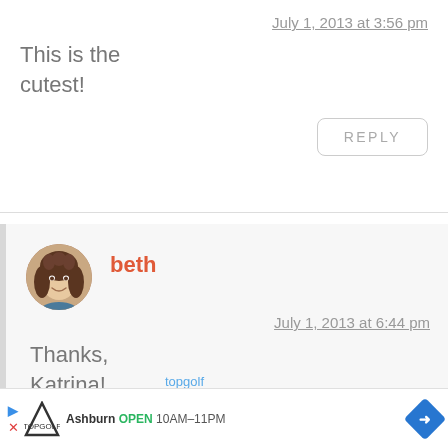July 1, 2013 at 3:56 pm
This is the cutest!
REPLY
beth
July 1, 2013 at 6:44 pm
Thanks, Katrina!
[Figure (photo): Circular avatar photo of a young woman with curly brown hair, smiling]
topgolf
Ashburn OPEN 10AM–11PM